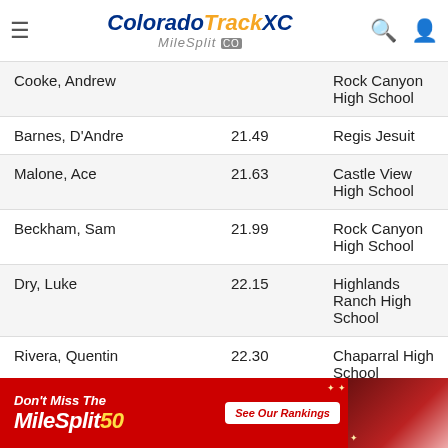Colorado Track XC MileSplit CO
| Name | Time | School |
| --- | --- | --- |
| Cooke, Andrew |  | Rock Canyon High School |
| Barnes, D'Andre | 21.49 | Regis Jesuit |
| Malone, Ace | 21.63 | Castle View High School |
| Beckham, Sam | 21.99 | Rock Canyon High School |
| Dry, Luke | 22.15 | Highlands Ranch High School |
| Rivera, Quentin | 22.30 | Chaparral High School |
| Moyle, Mason | 22.60 | Highlands Ranch High School |
| Calderon, Caden | 22.61 | Castle View High School |
| Schlesinger, Chris | 22.76 | Rock Canyon High School |
| Nelson, Chase | 22.86 | Douglas County High School |
| Carpenter, Kenneth | 23.07 | ThunderRidge High School |
[Figure (infographic): MileSplit50 advertisement banner with red background, 'Don't Miss The MileSplit50' text, 'See Our Rankings' button, and athlete photo]